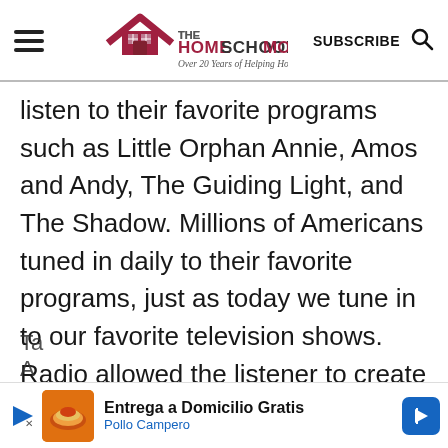THE HOMESCHOOL MOM — Over 20 Years of Helping Homeschoolers! | SUBSCRIBE
listen to their favorite programs such as Little Orphan Annie, Amos and Andy, The Guiding Light, and The Shadow. Millions of Americans tuned in daily to their favorite programs, just as today we tune in to our favorite television shows. Radio allowed the listener to create their own images of characters and settings, a luxury that we no longer have in these days of television.
Ta... A...
[Figure (other): Advertisement banner: Entrega a Domicilio Gratis — Pollo Campero, with play button, food image, and directional arrow icon]